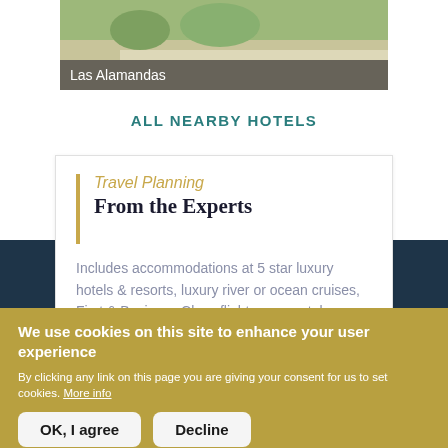[Figure (photo): Top portion of a hotel or resort photo showing grass and pathway, partially visible]
Las Alamandas
ALL NEARBY HOTELS
Travel Planning
From the Experts
Includes accommodations at 5 star luxury hotels & resorts, luxury river or ocean cruises, First & Business Class flights, car rentals,
We use cookies on this site to enhance your user experience
By clicking any link on this page you are giving your consent for us to set cookies. More info
OK, I agree
Decline